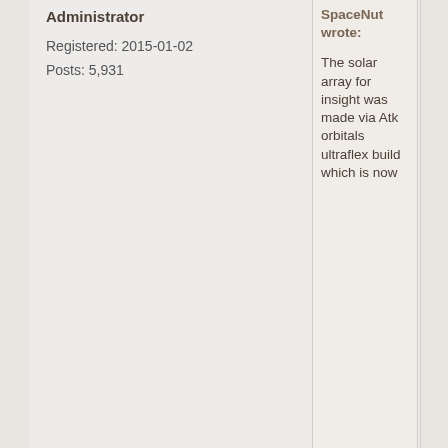Administrator
Registered: 2015-01-02
Posts: 5,931
SpaceNut wrote:
The solar array for insight was made via Atk orbitals ultraflex build which is now